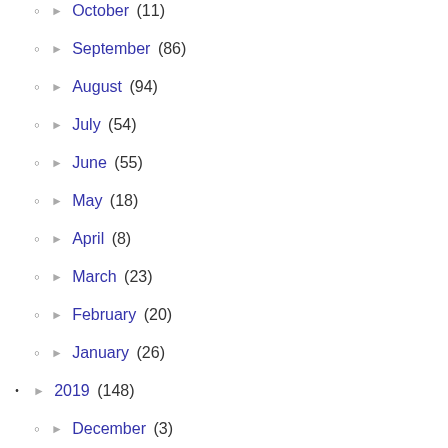► October (11)
► September (86)
► August (94)
► July (54)
► June (55)
► May (18)
► April (8)
► March (23)
► February (20)
► January (26)
► 2019 (148)
► December (3)
► November (16)
► October (17)
► September (22)
► August (4)
► July (5)
► June (13)
► May (11)